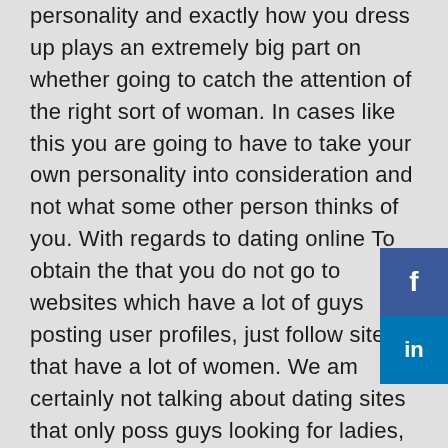personality and exactly how you dress up plays an extremely big part on whether going to catch the attention of the right sort of woman. In cases like this you are going to have to take your own personality into consideration and not what some other person thinks of you. With regards to dating online To obtain the that you do not go to websites which have a lot of guys posting user profiles, just follow sites that have a lot of women. We am certainly not talking about dating sites that only poss guys looking for ladies, you should also make sure that you adhere to sites whic may have a lot of women. If you go to a site that includes a lot of ladies and you